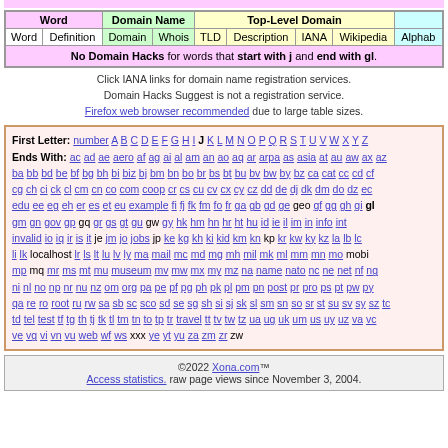| Word |  | Domain Name |  | Top-Level Domain |  |  |  |  |
| --- | --- | --- | --- | --- | --- | --- | --- | --- |
| Word | Definition | Domain | Whois | TLD | Description | IANA | Wikipedia | Alphab |
| No Domain Hacks for words that start with j and end with gl. |
Click IANA links for domain name registration services.
Domain Hacks Suggest is not a registration service.
Firefox web browser recommended due to large table sizes.
First Letter: number A B C D E F G H I J K L M N O P Q R S T U V W X Y Z
Ends With: ac ad ae aero af ag ai al am an ao aq ar arpa as asia at au aw ax az ba bb bd be bf bg bh bi biz bj bm bn bo br bs bt bu bv bw by bz ca cat cc cd cf cg ch ci ck cl cm cn co com coop cr cs cu cv cx cy cz dd de dj dk dm do dz ec edu ee eg eh er es et eu example fi fj fk fm fo fr ga gb gd ge geo gf gg gh gi gl gm gn gov gp gq gr gs gt gu gw gy hk hm hn hr ht hu id ie il im in info int invalid io iq ir is it je jm jo jobs jp ke kg kh ki kid km kn kp kr kw ky kz la lb lc li lk localhost lr ls lt lu lv ly ma mail mc md mg mh mil mk ml mm mn mo mobi mp mq mr ms mt mu museum mv mw mx my mz na name nato nc ne net nf ng ni nl no np nr nu nz om org pa pe pf pg ph pk pl pm pn post pr pro ps pt pw py qa re ro root ru rw sa sb sc sco sd se sg sh si sj sk sl sm sn so sr st su sv sy sz tc td tel test tf tg th tj tk tl tm tn to tp tr travel tt tv tw tz ua ug uk um us uy uz va vc ve vg vi vn vu web wf ws xxx ye yt yu za zm zr zw
©2022 Xona.com™
Access statistics. raw page views since November 3, 2004.